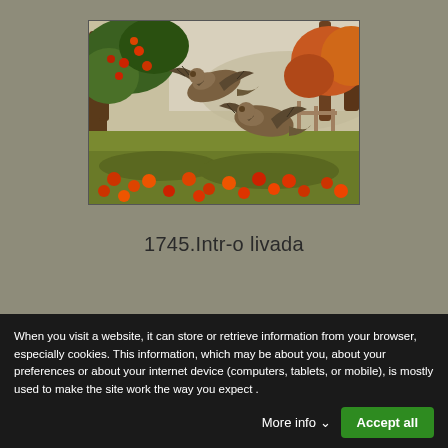[Figure (illustration): Wildlife painting showing two grouse or pheasants in flight over an autumn orchard scene with fallen apples, trees with colorful foliage, and a wooden fence in the background.]
1745.Intr-o livada
When you visit a website, it can store or retrieve information from your browser, especially cookies. This information, which may be about you, about your preferences or about your internet device (computers, tablets, or mobile), is mostly used to make the site work the way you expect .
More info ∨
Accept all